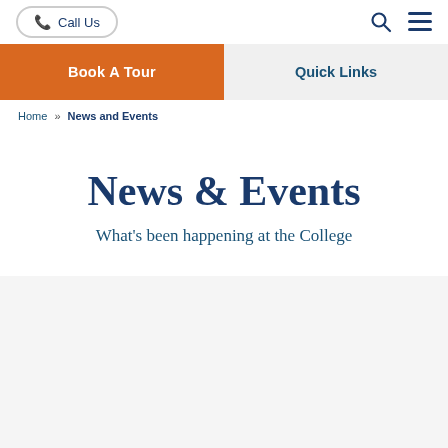Call Us
Book A Tour
Quick Links
Home » News and Events
News & Events
What's been happening at the College